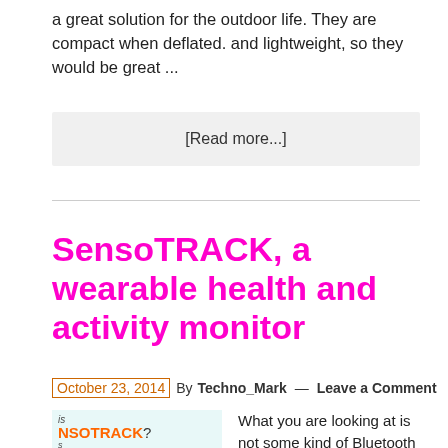a great solution for the outdoor life. They are compact when deflated. and lightweight, so they would be great ...
[Read more...]
SensoTRACK, a wearable health and activity monitor
October 23, 2014 By Techno_Mark — Leave a Comment
[Figure (photo): Partial image of SensoTRACK wearable device showing the brand name NSOTRACK and a teal/blue wearable device]
What you are looking at is not some kind of Bluetooth earphone, but it is one of those